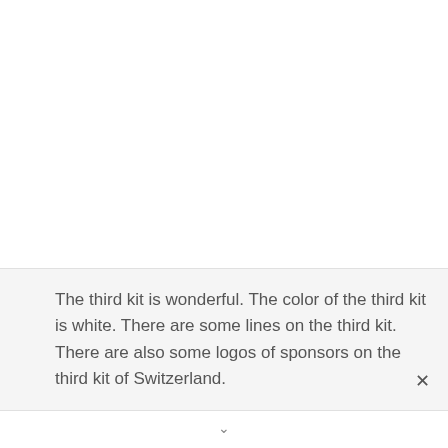The third kit is wonderful. The color of the third kit is white. There are some lines on the third kit. There are also some logos of sponsors on the third kit of Switzerland.